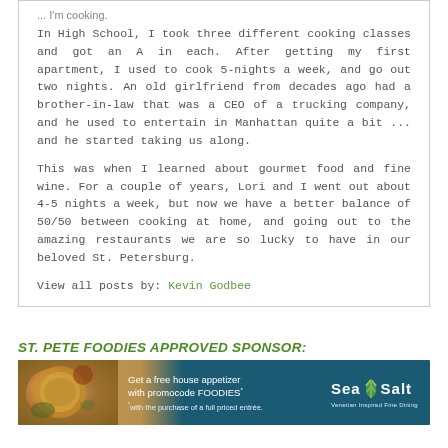In High School, I took three different cooking classes and got an A in each. After getting my first apartment, I used to cook 5-nights a week, and go out two nights. An old girlfriend from decades ago had a brother-in-law that was a CEO of a trucking company, and he used to entertain in Manhattan quite a bit ... and he started taking us along.
This was when I learned about gourmet food and fine wine. For a couple of years, Lori and I went out about 4-5 nights a week, but now we have a better balance of 50/50 between cooking at home, and going out to the amazing restaurants we are so lucky to have in our beloved St. Petersburg.
View all posts by: Kevin Godbee
ST. PETE FOODIES APPROVED SPONSOR:
[Figure (illustration): Sea Salt restaurant advertisement banner with food photo on left, promotional text 'Get a free house appetizer with promocode FOODIES* *with the purchase of a full priced entree.' and Sea Salt Venetian Inspired Fine Dining logo on teal/dark blue background.]